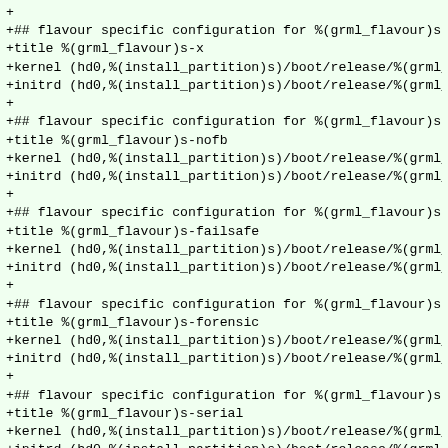+
+## flavour specific configuration for %(grml_flavour)s [gr
+title %(grml_flavour)s-x
+kernel (hd0,%(install_partition)s)/boot/release/%(grml_fla
+initrd (hd0,%(install_partition)s)/boot/release/%(grml_fla
+
+## flavour specific configuration for %(grml_flavour)s [gr
+title %(grml_flavour)s-nofb
+kernel (hd0,%(install_partition)s)/boot/release/%(grml_fla
+initrd (hd0,%(install_partition)s)/boot/release/%(grml_fla
+
+## flavour specific configuration for %(grml_flavour)s [gr
+title %(grml_flavour)s-failsafe
+kernel (hd0,%(install_partition)s)/boot/release/%(grml_fla
+initrd (hd0,%(install_partition)s)/boot/release/%(grml_fla
+
+## flavour specific configuration for %(grml_flavour)s [gr
+title %(grml_flavour)s-forensic
+kernel (hd0,%(install_partition)s)/boot/release/%(grml_fla
+initrd (hd0,%(install_partition)s)/boot/release/%(grml_fla
+
+## flavour specific configuration for %(grml_flavour)s [gr
+title %(grml_flavour)s-serial
+kernel (hd0,%(install_partition)s)/boot/release/%(grml_fla
+initrd (hd0,%(install_partition)s)/boot/release/%(grml_fla
+
+""" % {'grml_flavour': grml_flavour, 'local_datestamp': lo